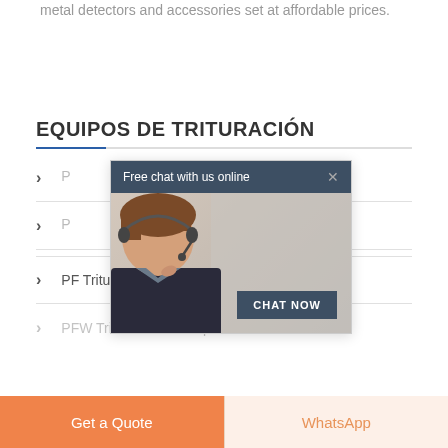metal detectors and accessories set at affordable prices.
EQUIPOS DE TRITURACIÓN
P...
P...
[Figure (screenshot): Live chat popup overlay with dark header 'Free chat with us online', close X button, image of woman with headset, and 'CHAT NOW' button]
PF Trituradora de Impacto
PFW Trituradora de Impacto...
Get a Quote
WhatsApp